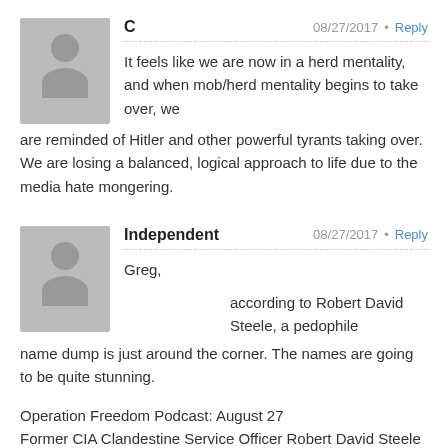C · 08/27/2017 · Reply
It feels like we are now in a herd mentality, and when mob/herd mentality begins to take over, we are reminded of Hitler and other powerful tyrants taking over. We are losing a balanced, logical approach to life due to the media hate mongering.
Independent · 08/27/2017 · Reply
Greg,

according to Robert David Steele, a pedophile name dump is just around the corner. The names are going to be quite stunning.

Operation Freedom Podcast: August 27
Former CIA Clandestine Service Officer Robert David Steele
http://www.davejanda.com/guests/robert-david-steele/sunday-august-27-2017